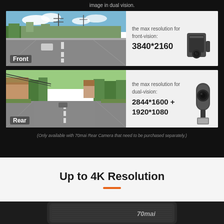image in dual vision.
[Figure (photo): Front camera view showing a suburban road with blue sky, trees, and cars. Label 'Front' in bottom left. Right side shows resolution info: 'the max resolution for front-vision: 3840*2160' with a dashcam device image.]
[Figure (photo): Rear camera view showing a suburban road lined with trees and houses. Label 'Rear' in bottom left. Right side shows resolution info: 'the max resolution for dual-vision: 2844*1600 + 1920*1080' with a rear camera device image.]
(Only available with 70mai Rear Camera that need to be purchased separately.)
Up to 4K Resolution
[Figure (photo): Bottom cropped image showing a 70mai dashcam device on a dark background with the 70mai logo visible.]